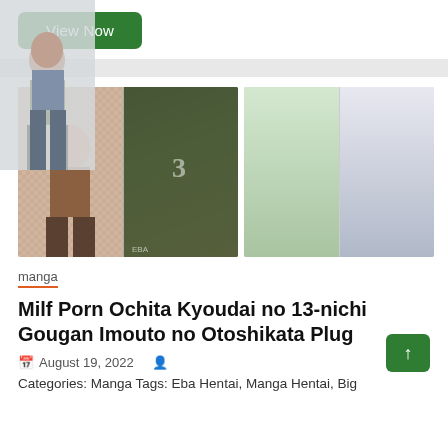[Figure (illustration): Green 'View Now' button]
[Figure (illustration): Manga cover images showing anime-style characters]
manga
Milf Porn Ochita Kyoudai no 13-nichi Gougan Imouto no Otoshikata Plug
August 19, 2022
Categories: Manga Tags: Eba Hentai, Manga Hentai, Big